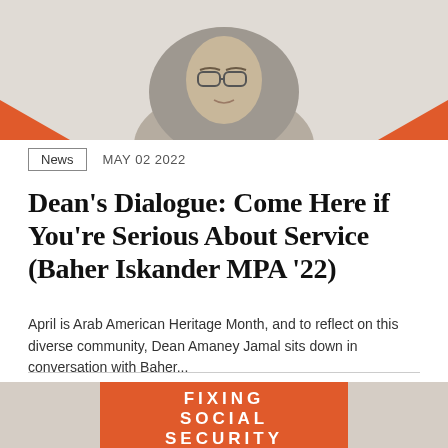[Figure (photo): Black and white photo of Baher Iskander wearing a hijab and glasses, cropped at the shoulders, with orange triangle accents in bottom corners]
News  MAY 02 2022
Dean's Dialogue: Come Here if You're Serious About Service (Baher Iskander MPA '22)
April is Arab American Heritage Month, and to reflect on this diverse community, Dean Amaney Jamal sits down in conversation with Baher...
[Figure (photo): Book cover or graphic reading FIXING SOCIAL SECURITY in white text on orange background, partially visible at bottom of page]